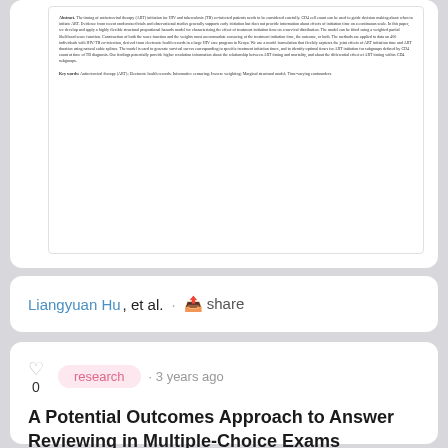[Figure (other): Preview of an academic paper with arXiv identifier on the left side, showing abstract text about antiretroviral therapy (ART) initiation for HIV and tuberculosis (TB) co-infected patients.]
Liangyuan Hu, et al. · share
research · 3 years ago
A Potential Outcomes Approach to Answer Reviewing in Multiple-Choice Exams
Does reviewing previous answers during multiple-choice exams help examin...